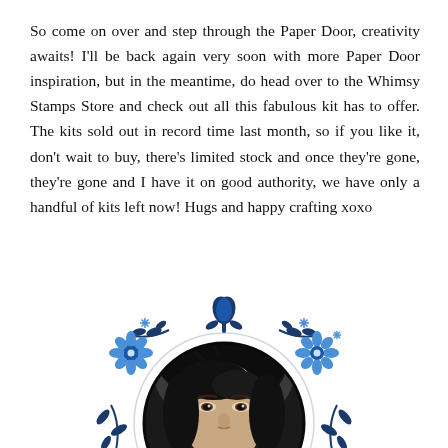So come on over and step through the Paper Door, creativity awaits! I'll be back again very soon with more Paper Door inspiration, but in the meantime, do head over to the Whimsy Stamps Store and check out all this fabulous kit has to offer. The kits sold out in record time last month, so if you like it, don't wait to buy, there's limited stock and once they're gone, they're gone and I have it on good authority, we have only a handful of kits left now! Hugs and happy crafting xoxo
[Figure (photo): A circular black and white portrait photo of a woman with dark hair, surrounded by a decorative blue floral wreath with flowers and leaves in various shades of blue.]